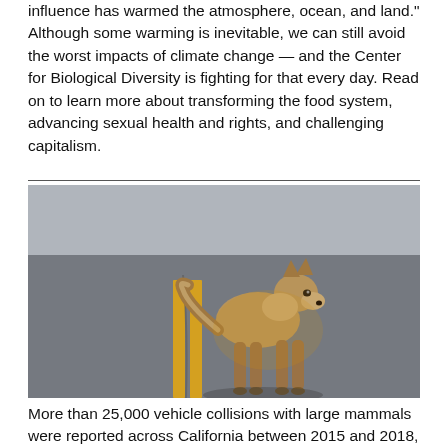influence has warmed the atmosphere, ocean, and land." Although some warming is inevitable, we can still avoid the worst impacts of climate change — and the Center for Biological Diversity is fighting for that every day. Read on to learn more about transforming the food system, advancing sexual health and rights, and challenging capitalism.
[Figure (photo): A coyote standing on a road with double yellow center lines, photographed in warm golden light.]
More than 25,000 vehicle collisions with large mammals were reported across California between 2015 and 2018, with estimates of unreported accidents as much as 10 times higher.